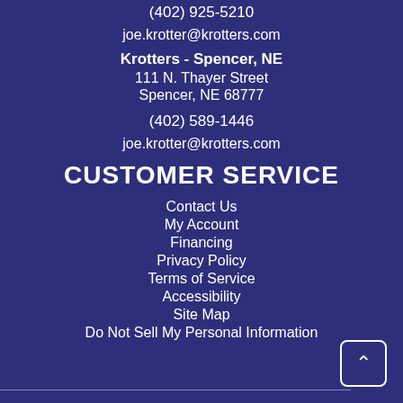(402) 925-5210
joe.krotter@krotters.com
Krotters - Spencer, NE
111 N. Thayer Street
Spencer, NE 68777
(402) 589-1446
joe.krotter@krotters.com
CUSTOMER SERVICE
Contact Us
My Account
Financing
Privacy Policy
Terms of Service
Accessibility
Site Map
Do Not Sell My Personal Information